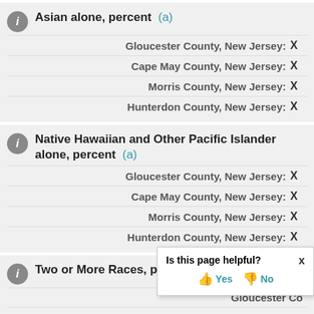Asian alone, percent (a)
Gloucester County, New Jersey: X
Cape May County, New Jersey: X
Morris County, New Jersey: X
Hunterdon County, New Jersey: X
Native Hawaiian and Other Pacific Islander alone, percent (a)
Gloucester County, New Jersey: X
Cape May County, New Jersey: X
Morris County, New Jersey: X
Hunterdon County, New Jersey: X
Two or More Races, percent
Gloucester County, New Jersey: X
Cape May County, New Jersey: X